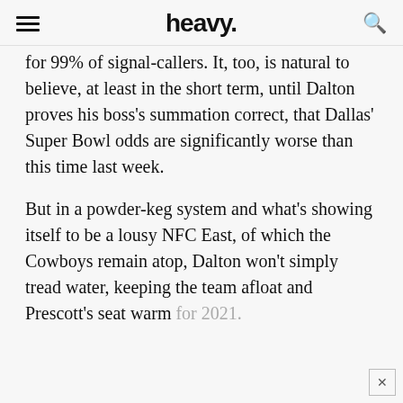heavy.
for 99% of signal-callers. It, too, is natural to believe, at least in the short term, until Dalton proves his boss's summation correct, that Dallas' Super Bowl odds are significantly worse than this time last week.
But in a powder-keg system and what's showing itself to be a lousy NFC East, of which the Cowboys remain atop, Dalton won't simply tread water, keeping the team afloat and Prescott's seat warm for 2021.